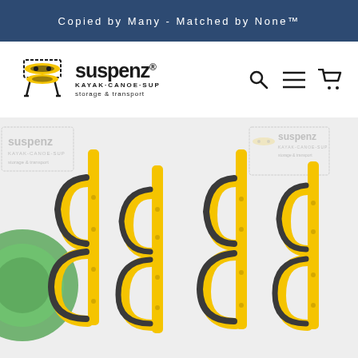Copied by Many - Matched by None™
[Figure (logo): Suspenz Kayak-Canoe-SUP storage & transport logo with yellow kayak rack icon]
[Figure (photo): Product photo showing yellow Suspenz kayak wall storage racks with black foam padding, displayed as multiple units against a white background. Small watermark logos visible on left and right sides.]